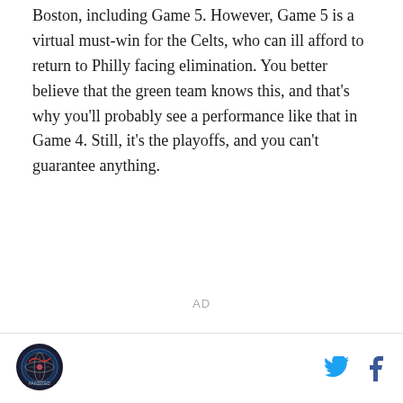Boston, including Game 5. However, Game 5 is a virtual must-win for the Celts, who can ill afford to return to Philly facing elimination. You better believe that the green team knows this, and that's why you'll probably see a performance like that in Game 4. Still, it's the playoffs, and you can't guarantee anything.
AD
[logo] [twitter icon] [facebook icon]